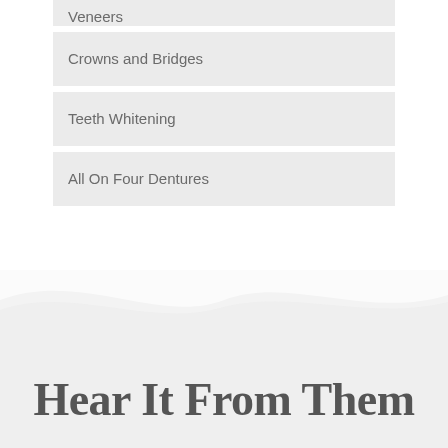Crowns and Bridges
Teeth Whitening
All On Four Dentures
Hear It From Them